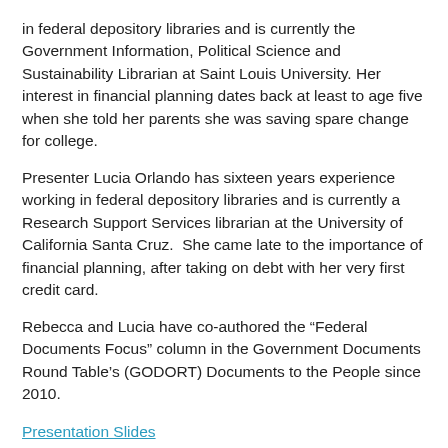in federal depository libraries and is currently the Government Information, Political Science and Sustainability Librarian at Saint Louis University. Her interest in financial planning dates back at least to age five when she told her parents she was saving spare change for college.
Presenter Lucia Orlando has sixteen years experience working in federal depository libraries and is currently a Research Support Services librarian at the University of California Santa Cruz.  She came late to the importance of financial planning, after taking on debt with her very first credit card.
Rebecca and Lucia have co-authored the “Federal Documents Focus” column in the Government Documents Round Table’s (GODORT) Documents to the People since 2010.
Presentation Slides
Recorded Presentation
Top of Page
Help! I’m an Accidental Government Information Librarian presents … Finding Government Data on the Environment (April